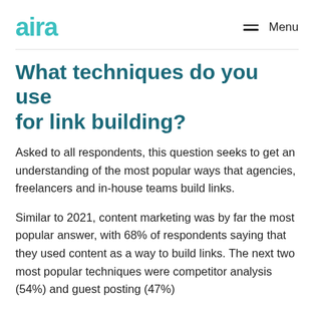aira   Menu
What techniques do you use for link building?
Asked to all respondents, this question seeks to get an understanding of the most popular ways that agencies, freelancers and in-house teams build links.
Similar to 2021, content marketing was by far the most popular answer, with 68% of respondents saying that they used content as a way to build links. The next two most popular techniques were competitor analysis (54%) and guest posting (47%)